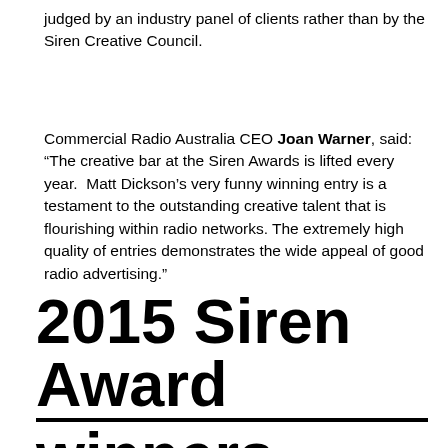judged by an industry panel of clients rather than by the Siren Creative Council.
Commercial Radio Australia CEO Joan Warner, said: “The creative bar at the Siren Awards is lifted every year.  Matt Dickson’s very funny winning entry is a testament to the outstanding creative talent that is flourishing within radio networks. The extremely high quality of entries demonstrates the wide appeal of good radio advertising.”
2015 Siren Award winners